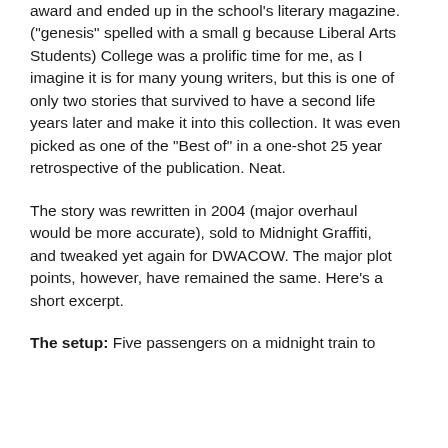award and ended up in the school's literary magazine. ("genesis" spelled with a small g because Liberal Arts Students) College was a prolific time for me, as I imagine it is for many young writers, but this is one of only two stories that survived to have a second life years later and make it into this collection. It was even picked as one of the "Best of" in a one-shot 25 year retrospective of the publication. Neat.
The story was rewritten in 2004 (major overhaul would be more accurate), sold to Midnight Graffiti, and tweaked yet again for DWACOW. The major plot points, however, have remained the same. Here's a short excerpt.
The setup: Five passengers on a midnight train to